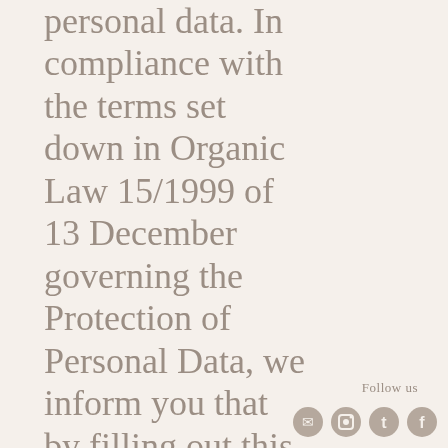personal data. In compliance with the terms set down in Organic Law 15/1999 of 13 December governing the Protection of Personal Data, we inform you that by filling out this form your personal data will be incorporated into the files of Gremicat SL and handled in order to offer and provide our services, as well as to inform you of improvements to the website. We also inform you that you may exercise your personal data access, rectification, cancellation and opposition rights by writing to
Follow us